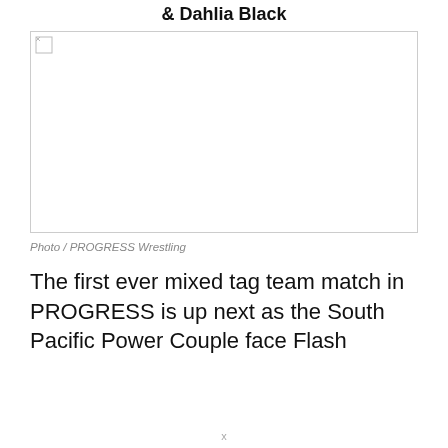& Dahlia Black
[Figure (photo): Placeholder image with broken image icon, white background, bordered rectangle]
Photo / PROGRESS Wrestling
The first ever mixed tag team match in PROGRESS is up next as the South Pacific Power Couple face Flash
x